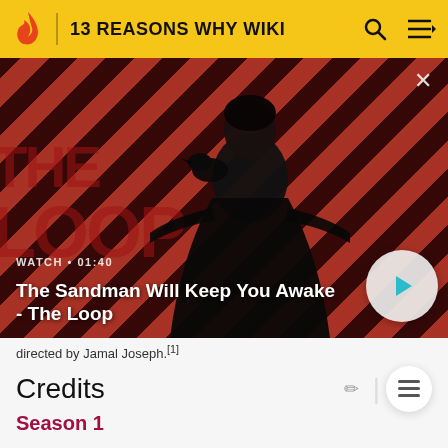13 REASONS WHY WIKI
[Figure (screenshot): Video thumbnail showing The Sandman Will Keep You Awake - The Loop. A pale figure in dark clothing with a crow on shoulder against red and dark diagonal stripe background. Shows WATCH • 01:40 label and play button.]
directed by Jamal Joseph.[1]
Credits
Season 1